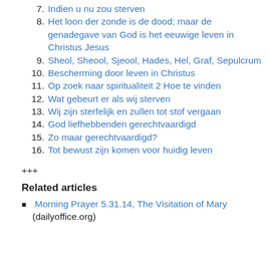7. Indien u nu zou sterven
8. Het loon der zonde is de dood; maar de genadegave van God is het eeuwige leven in Christus Jesus
9. Sheol, Sheool, Sjeool, Hades, Hel, Graf, Sepulcrum
10. Bescherming door leven in Christus
11. Op zoek naar spiritualiteit 2 Hoe te vinden
12. Wat gebeurt er als wij sterven
13. Wij zijn sterfelijk en zullen tot stof vergaan
14. God liefhebbenden gerechtvaardigd
15. Zo maar gerechtvaardigd?
16. Tot bewust zijn komen voor huidig leven
+++
Related articles
Morning Prayer 5.31.14, The Visitation of Mary
(dailyoffice.org)